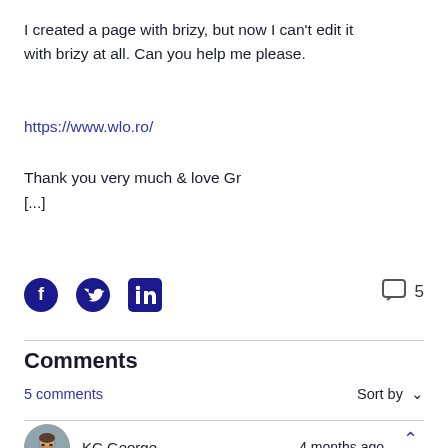I created a page with brizy, but now I can't edit it with brizy at all. Can you help me please.
https://www.wlo.ro/
Thank you very much & love Gr
[...]
[Figure (infographic): Social share icons: Facebook, Twitter, LinkedIn; comment bubble icon with count 5]
Comments
5 comments
Sort by
[Figure (photo): Avatar of KC George with user badge; username KC George, 4 months ago, upvote arrow and count 0]